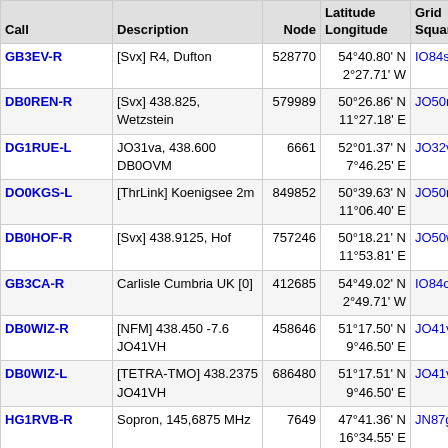| Call | Description | Node | Latitude
Longitude | Grid
Square | D
( |
| --- | --- | --- | --- | --- | --- |
| GB3EV-R | [Svx] R4, Dufton | 528770 | 54°40.80' N
2°27.71' W | IO84sq | 3 |
| DB0REN-R | [Svx] 438.825, Wetzstein | 579989 | 50°26.86' N
11°27.18' E | JO50rk | 3 |
| DG1RUE-L | JO31va, 438.600 DB0OVM | 6661 | 52°01.37' N
7°46.25' E | JO32va | 3 |
| DO0KGS-L | [ThrLink] Koenigsee 2m | 849852 | 50°39.63' N
11°06.40' E | JO50np | 3 |
| DB0HOF-R | [Svx] 438.9125, Hof | 757246 | 50°18.21' N
11°53.81' E | JO50wh | 3 |
| GB3CA-R | Carlisle Cumbria UK [0] | 412685 | 54°49.02' N
2°49.71' W | IO84ot | 3 |
| DB0WIZ-R | [NFM] 438.450 -7.6 JO41VH | 458646 | 51°17.50' N
9°46.50' E | JO41vh | 3 |
| DB0WIZ-L | [TETRA-TMO] 438.2375
JO41VH | 686480 | 51°17.51' N
9°46.50' E | JO41vh | 3 |
| HG1RVB-R | Sopron, 145,6875 MHz | 7649 | 47°41.36' N
16°34.55' E | JN87gg | 3 |
| GB7RW-R | Robin Hoods Bay UK | 921135 | 54°25.34' N
0°33.56' W | IO94rk | 3 |
| GB3ZN-R | Newcastle upon Tyne [0/20] | 266061 | 54°35.58' N
1°15.76' W | IO94io | 3 |
| DB0DTV-R | Rheine JO32OG 145.6125 | 501050 | 52°16.12' N | JO32rg | 3 |